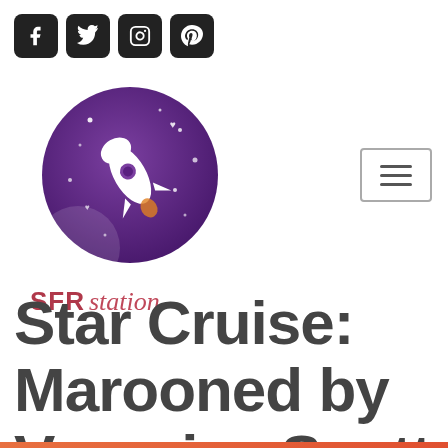[Figure (logo): Social media icons row: Facebook, Twitter, Instagram, Pinterest — white icons on black rounded square backgrounds]
[Figure (logo): SFR Station logo: purple circle with white rocket ship and stars, with 'SFR station' text below in red/pink]
[Figure (other): Hamburger menu button — three horizontal lines in a rounded rectangle border]
Star Cruise: Marooned by Veronica Scott